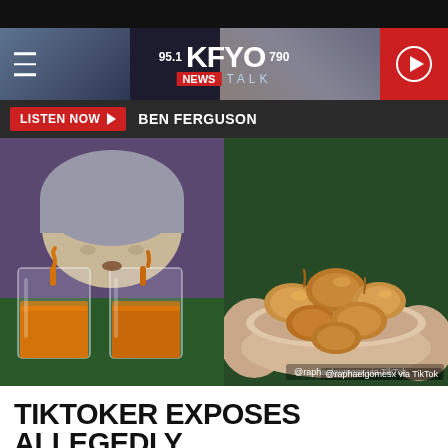[Figure (screenshot): Top black bar above website header]
[Figure (logo): KFYO 95.1 / 790 News Talk radio station header banner with hamburger menu on left, logo in center, red play button on right]
[Figure (screenshot): Listen Now button bar with red LISTEN NOW button and BEN FERGUSON text on dark background]
[Figure (photo): Left: person looking into beakers filled with orange liquid (sauce); Right: bowl of glazed/sauced chicken pieces with @raphaelgomesx via TikTok credit]
@raphaelgomesx via TikTok
TIKTOKER EXPOSES ALLEGEDLY